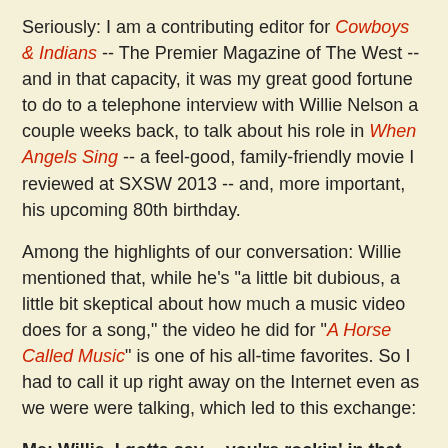Seriously: I am a contributing editor for Cowboys & Indians -- The Premier Magazine of The West -- and in that capacity, it was my great good fortune to do to a telephone interview with Willie Nelson a couple weeks back, to talk about his role in When Angels Sing -- a feel-good, family-friendly movie I reviewed at SXSW 2013 -- and, more important, his upcoming 80th birthday.
Among the highlights of our conversation: Willie mentioned that, while he's "a little bit dubious, a little bit skeptical about how much a music video does for a song," the video he did for "A Horse Called Music" is one of his all-time favorites. So I had to call it up right away on the Internet even as we were were talking, which led to this exchange:
Me: Willie, I gotta say -- you're rockin' in that hat in this video.
Willie: [Explosive laughter] Yeah?
Me: I mean, that almost looks the size of a manhole cover. Wow.